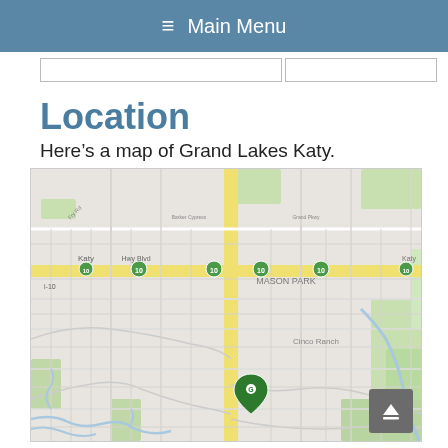≡ Main Menu
Location
Here's a map of Grand Lakes Katy.
[Figure (map): Street map of Grand Lakes Katy area showing Mason Park, Cino Ranch, Katy Hwy Blvd, and surrounding roads and neighborhoods. A green map pin marker is visible near the center-bottom of the map.]